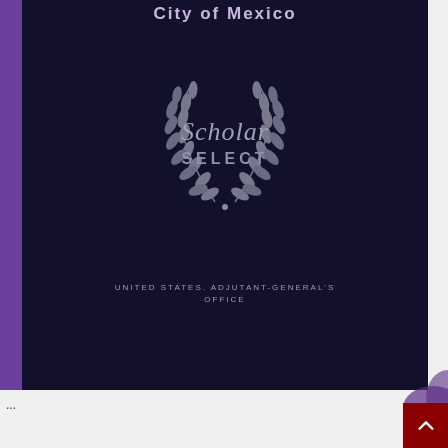[Figure (illustration): Book cover with dark navy/indigo background featuring a Scholar Select laurel wreath emblem in silver/grey, with partial title 'City of Mexico' at top and publisher 'UNITED STATES. ADJUTANT-GENERAL'S OFFICE' at bottom. Left side has a purple spine bar.]
...